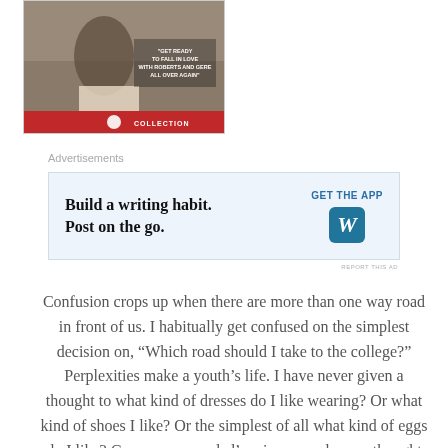[Figure (photo): Movie DVD or poster image showing a person crouching, with a red promotional bar at the bottom. Text overlay reads: 'GET READY TO FALL IN LOVE WITH ROBERTS AND GERE ALL OVER AGAIN']
Advertisements
[Figure (infographic): WordPress advertisement banner: 'Build a writing habit. Post on the go.' with GET THE APP button and WordPress logo]
REPORT THIS AD
Confusion crops up when there are more than one way road in front of us. I habitually get confused on the simplest decision on, “Which road should I take to the college?” Perplexities make a youth’s life. I have never given a thought to what kind of dresses do I like wearing? Or what kind of shoes I like? Or the simplest of all what kind of eggs do I like? Grew up as my dad’s princess and never thought of facing the world all by myself. But I had to, in fact